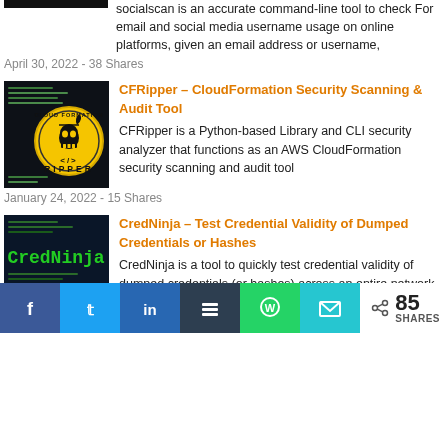socialscan is an accurate command-line tool to check For email and social media username usage on online platforms, given an email address or username,
April 30, 2022 - 38 Shares
[Figure (screenshot): CloudFormation Ripper logo - skull with scythe on yellow badge over dark terminal background]
CFRipper – CloudFormation Security Scanning & Audit Tool
CFRipper is a Python-based Library and CLI security analyzer that functions as an AWS CloudFormation security scanning and audit tool
January 24, 2022 - 15 Shares
[Figure (screenshot): CredNinja terminal screenshot with green text on dark background]
CredNinja – Test Credential Validity of Dumped Credentials or Hashes
CredNinja is a tool to quickly test credential validity of dumped credentials (or hashes) across an entire network or domain very efficiently.
85 SHARES — social share bar with Facebook, Twitter, LinkedIn, Buffer, WhatsApp, Email buttons